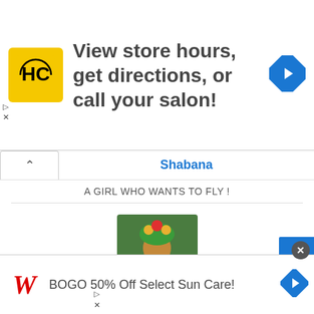[Figure (screenshot): Top advertisement banner: HC logo (yellow square with HC letters), text 'View store hours, get directions, or call your salon!', blue diamond direction arrow icon on right, skip/close controls on left]
Shabana
A GIRL WHO WANTS TO FLY !
[Figure (photo): Profile avatar image showing a colorful illustrated character]
Add Friend
Ammu-Vk
'Truth. Duty. Honour'
[Figure (screenshot): Partial second profile avatar - dark background with 'believe' script text]
[Figure (screenshot): Bottom advertisement banner: Walgreens W logo in red cursive, text 'BOGO 50% Off Select Sun Care!', blue diamond direction arrow icon, close X button]
[Figure (screenshot): Blue scroll-to-top button with white upward arrow on right side]